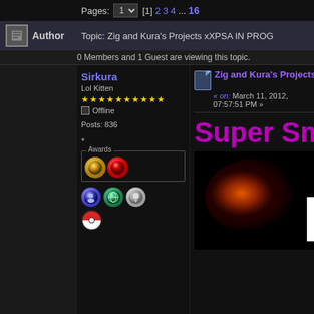Pages: 1 [1] 2 3 4 ... 16
Author   Topic: Zig and Kura's Projects xXPSA IN PROG
0 Members and 1 Guest are viewing this topic.
Sirkura
Lol Kitten
★★★★★★★★★★
Offline
Posts: 836
Zig and Kura's Projects xXPSA IN P
« on: March 11, 2012, 07:57:51 PM »
[Figure (screenshot): Post content showing 'Super Sm' text in purple and a partial image with nebula/fire background and 'P' letter in white bold font]
Awards
[Figure (illustration): Two award icons: gold coin award and red circular award]